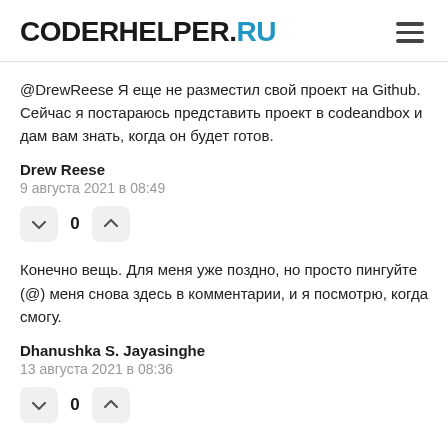CODERHELPER.RU
@DrewReese Я еще не разместил свой проект на Github. Сейчас я постараюсь представить проект в codeandbox и дам вам знать, когда он будет готов.
Drew Reese
9 августа 2021 в 08:49
0
Конечно вещь. Для меня уже поздно, но просто пингуйте (@) меня снова здесь в комментарии, и я посмотрю, когда смогу.
Dhanushka S. Jayasinghe
13 августа 2021 в 08:36
0